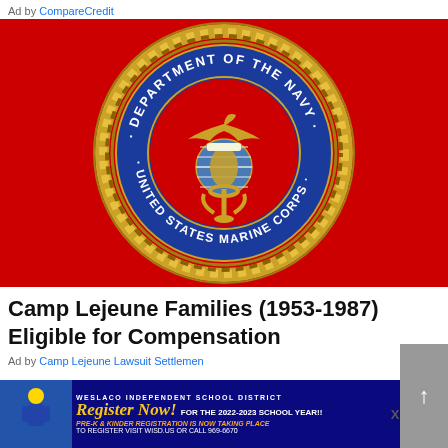Ad by CompareCredit
[Figure (logo): United States Marine Corps seal / Department of the Navy emblem on red background. Blue circular seal with gold rope border, eagle globe and anchor in center, text reading DEPARTMENT OF THE NAVY and UNITED STATES MARINE CORPS]
Camp Lejeune Families (1953-1987) Eligible for Compensation
Ad by Camp Lejeune Lawsuit Settlemen
[Figure (infographic): Weslaco Independent School District advertisement: Register Now! for the 2022-2023 School Year!! Pre-K & Kinder Registration is now taking place. To register visit WISD.US or call 969-6670]